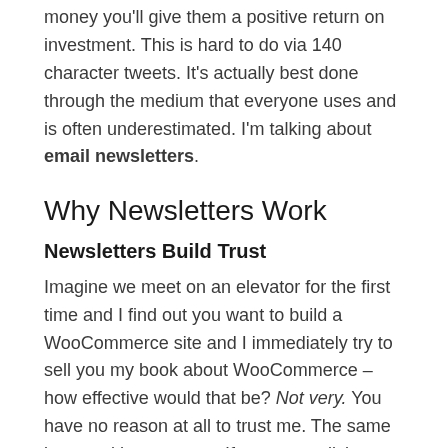money you'll give them a positive return on investment. This is hard to do via 140 character tweets. It's actually best done through the medium that everyone uses and is often underestimated. I'm talking about email newsletters.
Why Newsletters Work
Newsletters Build Trust
Imagine we meet on an elevator for the first time and I find out you want to build a WooCommerce site and I immediately try to sell you my book about WooCommerce – how effective would that be? Not very. You have no reason at all to trust me. The same is true with your store. If someone clicks on your product page directly from Twitter what do they know about